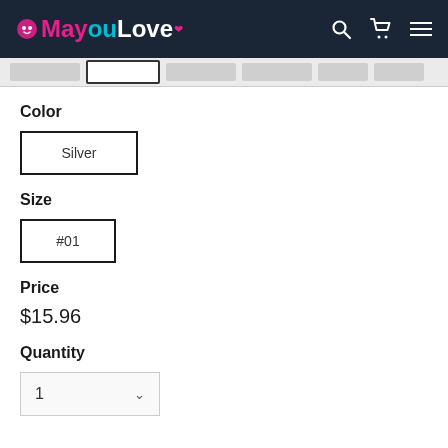MayouLove
Color
Silver
Size
#01
Price
$15.96
Quantity
1